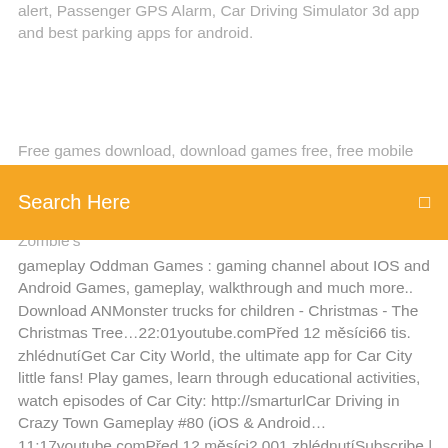alert, Passenger GPS Alarm, Car Driving Simulator 3d app and best parking apps for android.
Free games download, download games free, free mobile games download for android, ios, window phone, Top 1000 Mobile Games of 2017 You are about to download Zombie Town Attack 1.9 Latest APK for Android. Your Town is under Zombie's
[Figure (screenshot): Orange search bar with 'Search Here' text and a search icon on the right]
gameplay Oddman Games : gaming channel about IOS and Android Games, gameplay, walkthrough and much more.. Download ANMonster trucks for children - Christmas - The Christmas Tree…22:01youtube.comPřed 12 měsíci66 tis. zhlédnutíGet Car City World, the ultimate app for Car City little fans! Play games, learn through educational activities, watch episodes of Car City: http://smarturlCar Driving in Crazy Town Gameplay #80 (iOS & Android…11:17youtube.comPřed 12 měsíci2 001 zhlédnutíSubscribe | Share | Like Car Driving in